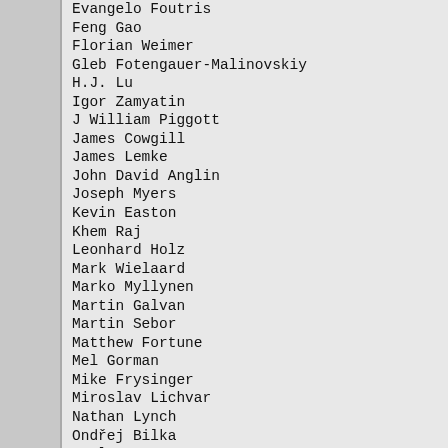Evangelo Foutris
Feng Gao
Florian Weimer
Gleb Fotengauer-Malinovskiy
H.J. Lu
Igor Zamyatin
J William Piggott
James Cowgill
James Lemke
John David Anglin
Joseph Myers
Kevin Easton
Khem Raj
Leonhard Holz
Mark Wielaard
Marko Myllynen
Martin Galvan
Martin Sebor
Matthew Fortune
Mel Gorman
Mike Frysinger
Miroslav Lichvar
Nathan Lynch
Ondřej Bilka
Paul Eggert
Paul Pluzhnikov
Pavel Kopyl
Pravin Satpute
Rajalakshmi Srinivasaraghavan
Rical Jasan
Richard Henderson